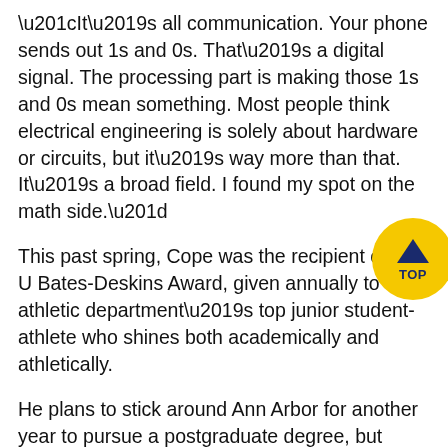“It’s all communication. Your phone sends out 1s and 0s. That’s a digital signal. The processing part is making those 1s and 0s mean something. Most people think electrical engineering is solely about hardware or circuits, but it’s way more than that. It’s a broad field. I found my spot on the math side.”
This past spring, Cope was the recipient of the U Bates-Deskins Award, given annually to the athletic department’s top junior student-athlete who shines both academically and athletically.
He plans to stick around Ann Arbor for another year to pursue a postgraduate degree, but whether or not he will be swimming competitively remains an open question. Cope has already picked up four U.S. Olympic Trials cuts (4:09/800 backstroke d...